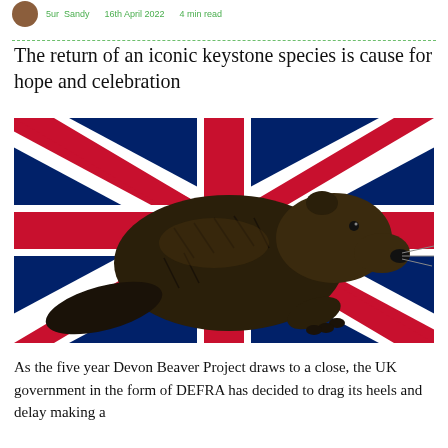5ur Sandy   16th April 2022   4 min read
The return of an iconic keystone species is cause for hope and celebration
[Figure (illustration): A beaver superimposed over a Union Jack (UK flag) background]
As the five year Devon Beaver Project draws to a close, the UK government in the form of DEFRA has decided to drag its heels and delay making a